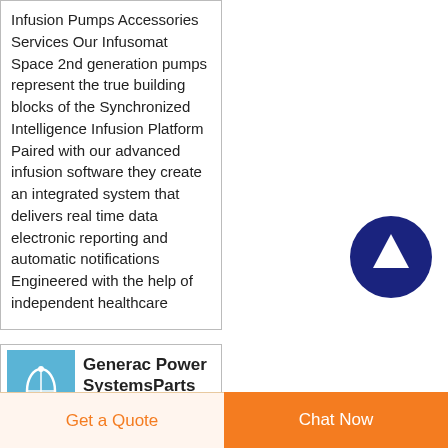Infusion Pumps Accessories Services Our Infusomat Space 2nd generation pumps represent the true building blocks of the Synchronized Intelligence Infusion Platform Paired with our advanced infusion software they create an integrated system that delivers real time data electronic reporting and automatic notifications Engineered with the help of independent healthcare
[Figure (other): Dark navy blue circular button with white upward arrow icon (scroll to top button)]
[Figure (photo): Small product image showing a medical tubing/IV set on blue background]
Generac Power SystemsParts
Get a Quote
Chat Now